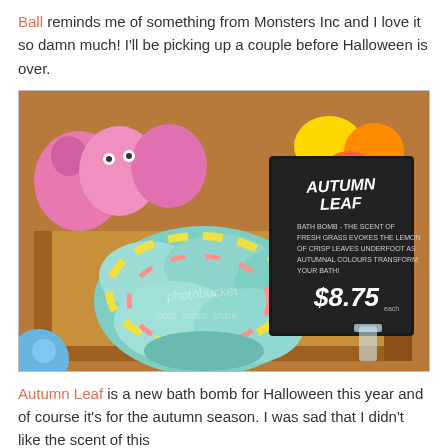Ball reminds me of something from Monsters Inc and I love it so damn much! I'll be picking up a couple before Halloween is over.
[Figure (photo): Photo of Lush bath products displayed in a wooden tray at a Lush store. In the foreground are large mint green and yellow swirled bath bombs/bubble bars. In the background are pink fuzzy monster-shaped bath products. A black chalkboard sign reads 'AUTUMN LEAF - Bath Bomb - The scent of fresh grass evokes the lemon of crisp leaves underfoot as autumnal colours transform your bath! $8.75 each'. A Photobucket watermark is visible.]
Autumn Leaf is a new bath bomb for Halloween this year and of course it's for the autumn season. I was sad that I didn't like the scent of this